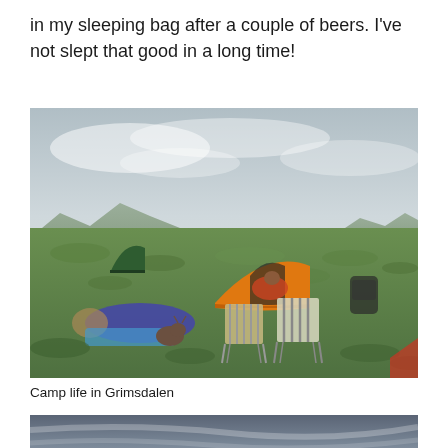in my sleeping bag after a couple of beers. I've not slept that good in a long time!
[Figure (photo): Outdoor camping scene in Grimsdalen. A person lying in a sleeping bag on the ground with a cat nearby, next to a yellow dome tent with another person inside. Two folding chairs sit in front of the tent. A dark green tent is visible in the background. The landscape is open tundra with low shrubs and mountains in the distance under a cloudy sky.]
Camp life in Grimsdalen
[Figure (photo): Partial photo showing a dramatic cloudy grey sky, appears to be bottom portion of another outdoor/landscape photograph.]